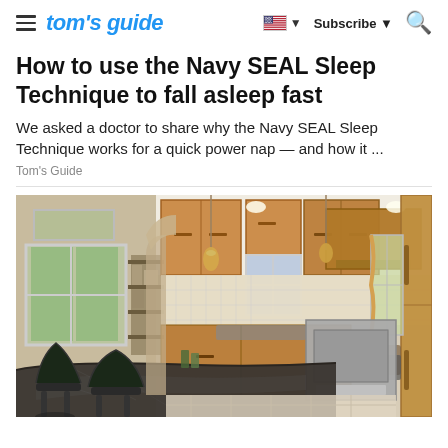tom's guide — Subscribe
How to use the Navy SEAL Sleep Technique to fall asleep fast
We asked a doctor to share why the Navy SEAL Sleep Technique works for a quick power nap — and how it ...
Tom's Guide
[Figure (photo): Interior kitchen photo showing wooden cabinetry, granite countertop island with bar stools, stainless steel appliances, pendant lighting, tile backsplash, and an open floor plan with views into adjacent rooms and outdoor greenery.]